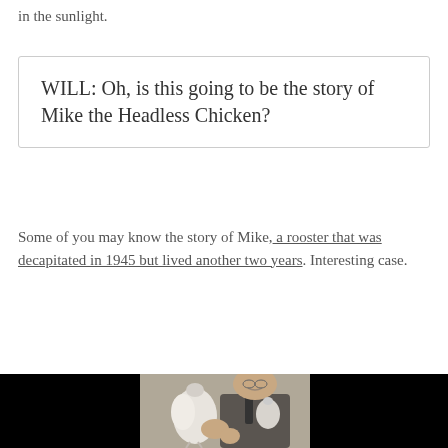in the sunlight.
WILL: Oh, is this going to be the story of Mike the Headless Chicken?
Some of you may know the story of Mike, a rooster that was decapitated in 1945 but lived another two years. Interesting case.
[Figure (photo): Black and white photograph of a man in a suit holding a headless chicken, with dark black panels on either side.]